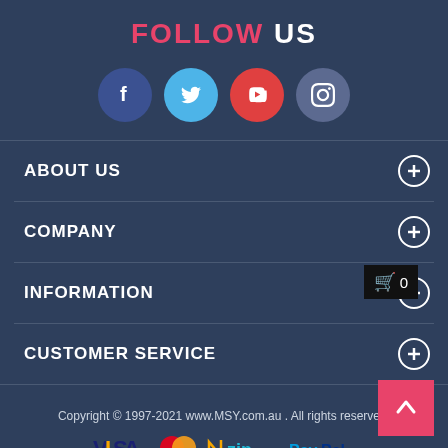FOLLOW US
[Figure (infographic): Four social media circular icons: Facebook (dark blue), Twitter (light blue), YouTube (red), Instagram (muted blue)]
ABOUT US
COMPANY
INFORMATION
CUSTOMER SERVICE
Copyright © 1997-2021 www.MSY.com.au . All rights reserved.
[Figure (infographic): Payment method logos: VISA, MasterCard, Zip, PayPal]